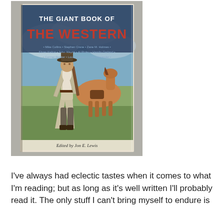[Figure (photo): A photograph of the book 'The Giant Book of The Western' edited by Jon E. Lewis, showing its cover with a cowboy holding a rifle standing next to a horse in a prairie landscape, placed on a stone surface.]
I've always had eclectic tastes when it comes to what I'm reading; but as long as it's well written I'll probably read it. The only stuff I can't bring myself to endure is